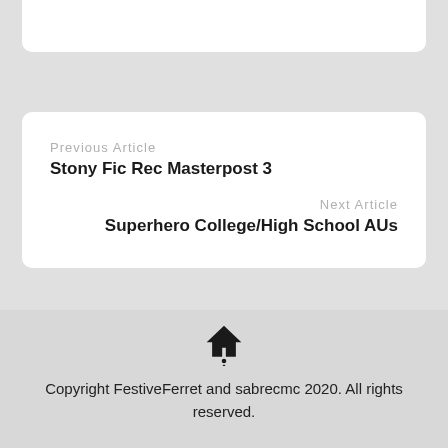Previous Article
Stony Fic Rec Masterpost 3
Next Article
Superhero College/High School AUs
Copyright FestiveFerret and sabrecmc 2020. All rights reserved.